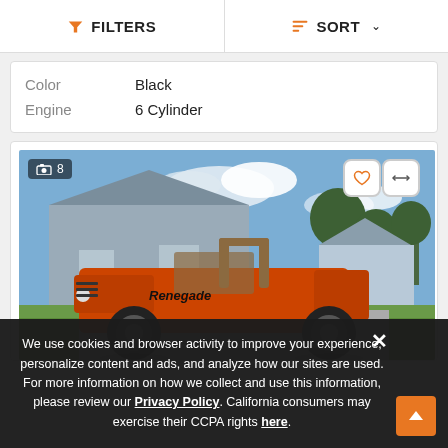FILTERS | SORT
| Color | Black |
| Engine | 6 Cylinder |
[Figure (photo): Orange Jeep Renegade CJ parked in a suburban driveway on a sunny day, side profile view. Image count badge shows 8 photos. Heart and compare buttons visible in top-right corner of image.]
We use cookies and browser activity to improve your experience, personalize content and ads, and analyze how our sites are used. For more information on how we collect and use this information, please review our Privacy Policy. California consumers may exercise their CCPA rights here.